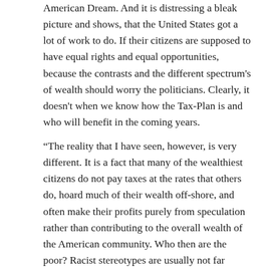American Dream. And it is distressing a bleak picture and shows, that the United States got a lot of work to do. If their citizens are supposed to have equal rights and equal opportunities, because the contrasts and the different spectrum's of wealth should worry the politicians. Clearly, it doesn't when we know how the Tax-Plan is and who will benefit in the coming years.
“The reality that I have seen, however, is very different. It is a fact that many of the wealthiest citizens do not pay taxes at the rates that others do, hoard much of their wealth off-shore, and often make their profits purely from speculation rather than contributing to the overall wealth of the American community. Who then are the poor? Racist stereotypes are usually not far beneath the surface. The poor are overwhelmingly assumed to be people of